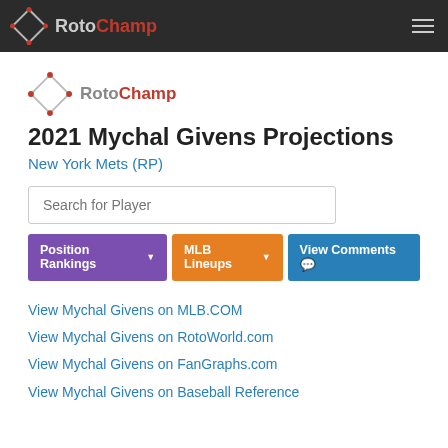RotoChamp
[Figure (logo): RotoChamp diamond logo (smaller, inline)]
2021 Mychal Givens Projections
New York Mets (RP)
Search for Player
Position Rankings
MLB Lineups
View Comments
View Mychal Givens on MLB.COM
View Mychal Givens on RotoWorld.com
View Mychal Givens on FanGraphs.com
View Mychal Givens on Baseball Reference